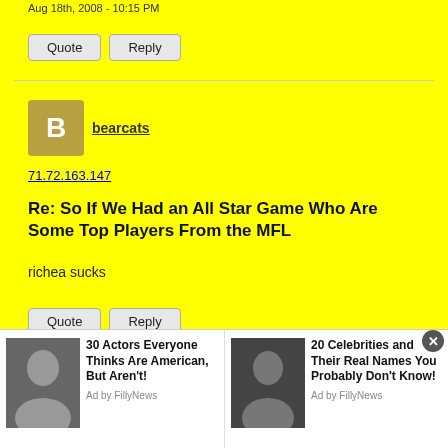Aug 18th, 2008 - 10:15 PM
Quote | Reply
bearcats
71.72.163.147
Re: So If We Had an All Star Game Who Are Some Top Players From the MFL
richea sucks
Quote | Reply
[Figure (photo): Advertisement banner showing two celebrity articles: '30 Actors Everyone Thinks Are American, But Aren't!' and '20 Celebrities and Their Real Names You Probably Don't Know!' with celebrity photos, by FillyNews]